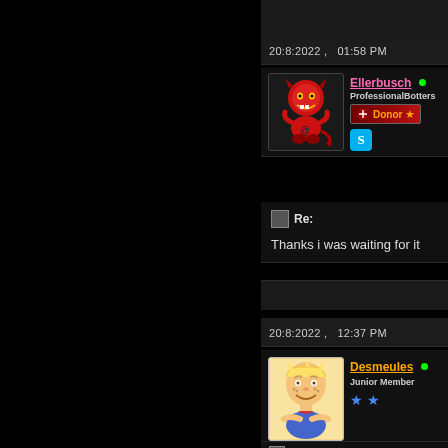20:8:2022 ,   01:58 PM
Ellerbusch • ProfessionalBotters Donor ★
Re:
Thanks i was waiting for it
20:8:2022 ,   12:37 PM
Desmeules • Junior Member ★★
Re: Real estate software